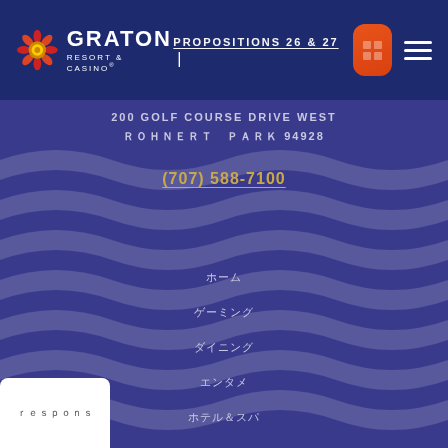PROPOSITIONS 26 & 27 |
[Figure (logo): Graton Resort & Casino logo with decorative flower/mandala icon and white text]
200 GOLF COURSE DRIVE WEST
[Japanese characters] 94928
(707) 588-7100
[Japanese characters]
[Japanese characters]
[Japanese characters]
[Japanese characters]
[Japanese characters]